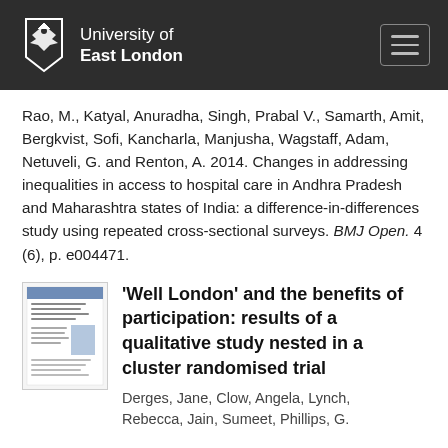University of East London
Rao, M., Katyal, Anuradha, Singh, Prabal V., Samarth, Amit, Bergkvist, Sofi, Kancharla, Manjusha, Wagstaff, Adam, Netuveli, G. and Renton, A. 2014. Changes in addressing inequalities in access to hospital care in Andhra Pradesh and Maharashtra states of India: a difference-in-differences study using repeated cross-sectional surveys. BMJ Open. 4 (6), p. e004471.
[Figure (screenshot): Thumbnail image of a journal article page]
'Well London' and the benefits of participation: results of a qualitative study nested in a cluster randomised trial
Derges, Jane, Clow, Angela, Lynch, Rebecca, Jain, Sumeet, Phillips, G.